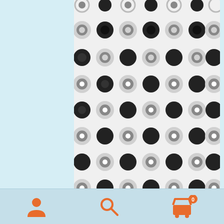[Figure (photo): Product image showing a white textile or dishcloth with a repeating black and grey floral/sunflower pattern arranged in a grid]
ATTN CANADIAN CUSTOMERS: US to CA shipments take in excess of 4-6 wks due to Covid-19; every package sits in quarantine 2 wks in US then 2 wks in CA before delivery. All shipments to Canada may incur duties/taxes which the customer is responsible for. Dismiss